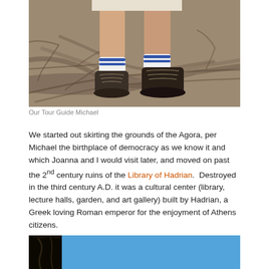[Figure (photo): Lower half of a person's legs wearing hiking boots and white socks with blue stripes, standing on a dirt path with tree shadows.]
Our Tour Guide Michael
We started out skirting the grounds of the Agora, per Michael the birthplace of democracy as we know it and which Joanna and I would visit later, and moved on past the 2nd century ruins of the Library of Hadrian.  Destroyed in the third century A.D. it was a cultural center (library, lecture halls, garden, and art gallery) built by Hadrian, a Greek loving Roman emperor for the enjoyment of Athens citizens.
[Figure (photo): Bottom portion of a dark statue or column against a bright blue sky.]